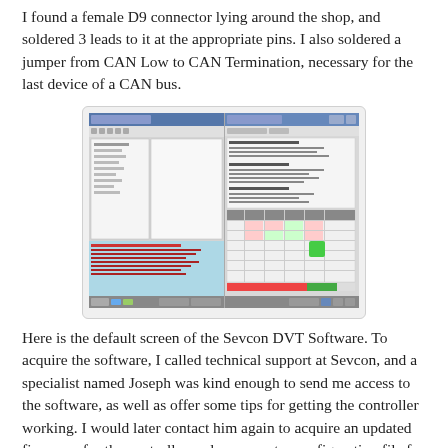I found a female D9 connector lying around the shop, and soldered 3 leads to it at the appropriate pins. I also soldered a jumper from CAN Low to CAN Termination, necessary for the last device of a CAN bus.
[Figure (screenshot): Screenshot of the Sevcon DVT Software showing two panels: left panel with a software interface and blue terminal/log area at the bottom, right panel showing configuration or parameter settings with a green indicator and colored status bars.]
Here is the default screen of the Sevcon DVT Software. To acquire the software, I called technical support at Sevcon, and a specialist named Joseph was kind enough to send me access to the software, as well as offer some tips for getting the controller working. I would later contact him again to acquire an updated firmware for the controller and a parameter configuration file for the ME0907 motor.
I later found out you can acquire the software by following